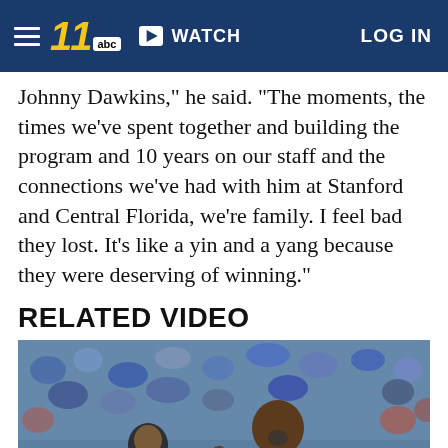ABC11 WTVD - WATCH - LOG IN
Johnny Dawkins," he said. "The moments, the times we've spent together and building the program and 10 years on our staff and the connections we've had with him at Stanford and Central Florida, we're family. I feel bad they lost. It's like a yin and a yang because they were deserving of winning."
RELATED VIDEO
[Figure (photo): Duke basketball player wearing jersey number 1 celebrating enthusiastically on court with crowd in background]